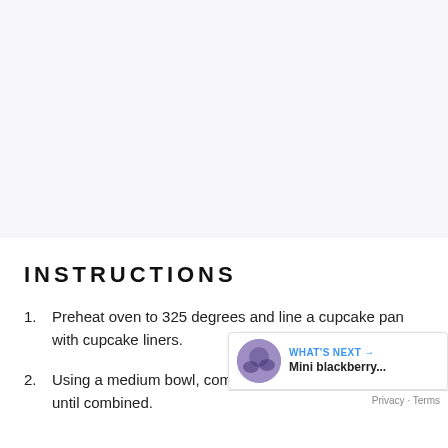INSTRUCTIONS
Preheat oven to 325 degrees and line a cupcake pan with cupcake liners.
Using a medium bowl, combine ingredients and mix until combined.